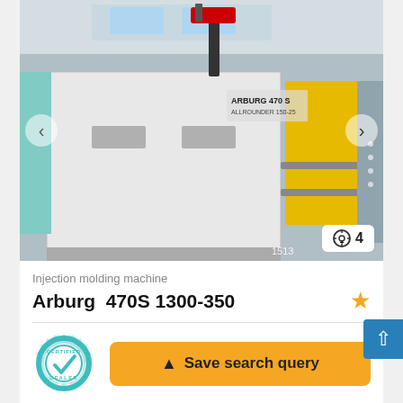[Figure (photo): Arburg 470S 1300-350 injection molding machine in an industrial facility. Large grey/white machine body with yellow accents visible on the right. A robotic arm is mounted on top. Other machines visible in the background.]
Injection molding machine
Arburg  470S 1300-350
[Figure (logo): Certified Dealer badge — circular gear-shaped badge with teal/cyan color, checkmark in center, text 'CERTIFIED DEALER' around the edge]
▲ Save search query
€ Price info